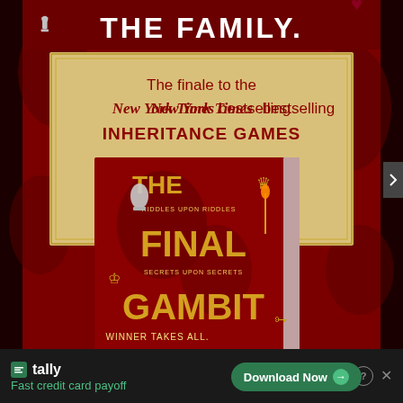[Figure (illustration): Book advertisement for 'The Final Gambit' by Jennifer Lynn Barnes. Red background with decorative roses and chess pieces. Large white text at top reads 'THE FAMILY.' in bold. Gold/cream center panel with red text: 'The finale to the New York Times bestselling INHERITANCE GAMES'. Below is a 3D book cover image of 'The Final Gambit' on red background with gold ornate lettering, chess piece, crown, torch, tiara, and key decorations. Text on cover reads 'RIDDLES UPON RIDDLES', 'SECRETS UPON SECRETS', 'WINNER TAKES ALL.' Bottom bar is a Tally app advertisement with 'Fast credit card payoff' and 'Download Now' button.]
THE FAMILY.
The finale to the New York Times bestselling INHERITANCE GAMES
THE FINAL GAMBIT — RIDDLES UPON RIDDLES · SECRETS UPON SECRETS · WINNER TAKES ALL.
tally Fast credit card payoff
Download Now →